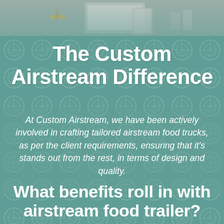[Figure (photo): Top strip showing a kitchen counter or food truck interior with stainless steel equipment and utensils, blurred background]
The Custom Airstream Difference
At Custom Airstream, we have been actively involved in crafting tailored airstream food trucks, as per the client requirements, ensuring that it's stands out from the rest, in terms of design and quality.
What benefits roll in with airstream food trailer?